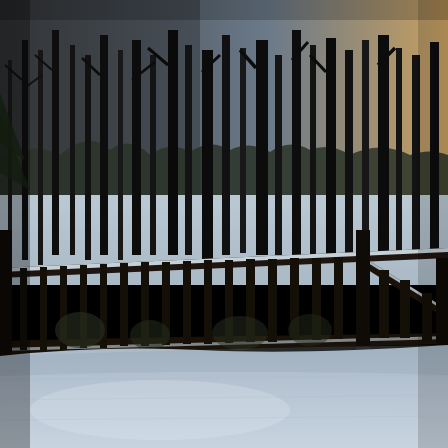[Figure (photo): Winter outdoor scene viewed from a snow-covered wooden deck. A dark wooden railing with vertical balusters runs horizontally across the middle of the image. Beyond the railing, bare deciduous trees stand silhouetted against a pale sky with a hint of sunset on the right. Snow covers the ground beyond the deck and a frozen pond or field is visible through the trees. The foreground shows a large expanse of snow-covered deck planking. The overall color palette is dark browns, blacks, and blue-white snow tones.]